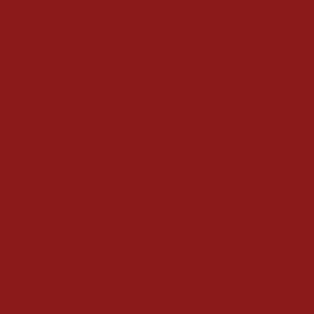political domain Her time is instead spent on managing the household and pursui